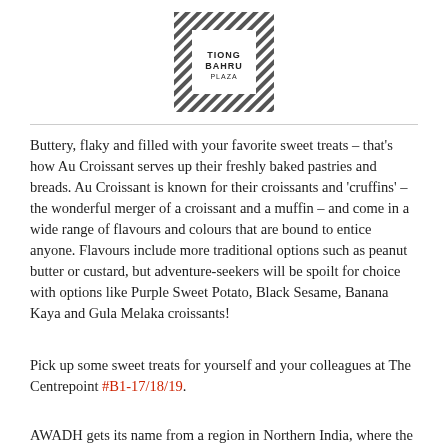[Figure (logo): Tiong Bahru Plaza logo with diagonal stripe pattern border]
Buttery, flaky and filled with your favorite sweet treats – that's how Au Croissant serves up their freshly baked pastries and breads. Au Croissant is known for their croissants and 'cruffins' – the wonderful merger of a croissant and a muffin – and come in a wide range of flavours and colours that are bound to entice anyone. Flavours include more traditional options such as peanut butter or custard, but adventure-seekers will be spoilt for choice with options like Purple Sweet Potato, Black Sesame, Banana Kaya and Gula Melaka croissants!
Pick up some sweet treats for yourself and your colleagues at The Centrepoint #B1-17/18/19.
AWADH gets its name from a region in Northern India, where the food is rich in tradition and taste. As the first restaurant in Singapore offering traditional Awadhi cuisine, it offers Indian food with its own unique twist to ensure a feast on every